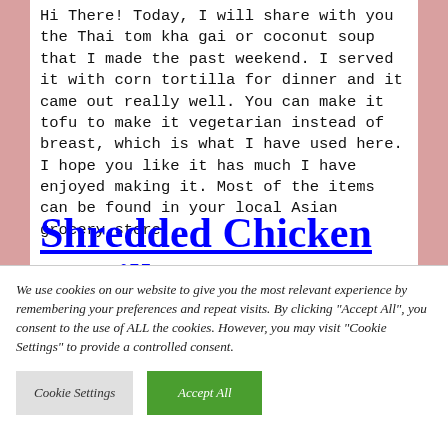Hi There! Today, I will share with you the Thai tom kha gai or coconut soup that I made the past weekend. I served it with corn tortilla for dinner and it came out really well. You can make it tofu to make it vegetarian instead of breast, which is what I have used here. I hope you like it has much I have enjoyed making it. Most of the items can be found in your local Asian grocery store.
Shredded Chicken Tortilla Soup
We use cookies on our website to give you the most relevant experience by remembering your preferences and repeat visits. By clicking "Accept All", you consent to the use of ALL the cookies. However, you may visit "Cookie Settings" to provide a controlled consent.